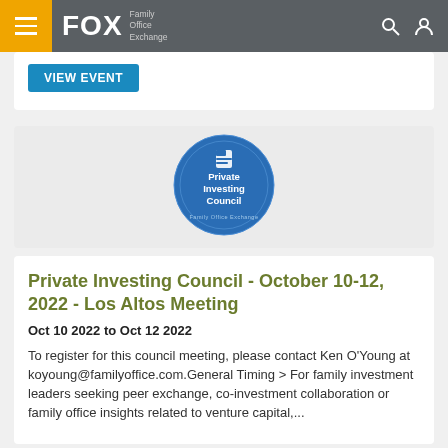FOX Family Office Exchange
VIEW EVENT
[Figure (logo): Private Investing Council circular badge logo with FOX icon and text 'Private Investing Council' on blue background, 'Family Office Exchange' around the border]
Private Investing Council - October 10-12, 2022 - Los Altos Meeting
Oct 10 2022 to Oct 12 2022
To register for this council meeting, please contact Ken O'Young at koyoung@familyoffice.com.General Timing > For family investment leaders seeking peer exchange, co-investment collaboration or family office insights related to venture capital,...